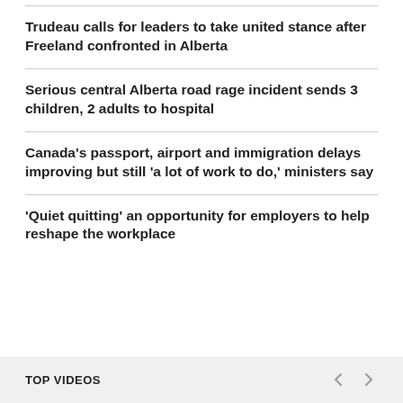Trudeau calls for leaders to take united stance after Freeland confronted in Alberta
Serious central Alberta road rage incident sends 3 children, 2 adults to hospital
Canada's passport, airport and immigration delays improving but still 'a lot of work to do,' ministers say
'Quiet quitting' an opportunity for employers to help reshape the workplace
TOP VIDEOS